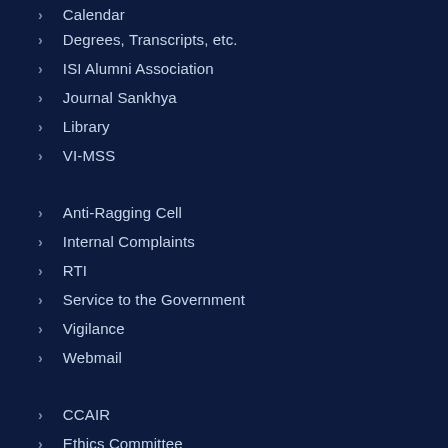Calendar
Degrees, Transcripts, etc.
ISI Alumni Association
Journal Sankhya
Library
VI-MSS
Anti-Ragging Cell
Internal Complaints
RTI
Service to the Government
Vigilance
Webmail
CCAIR
Ethics Committee
Job openings